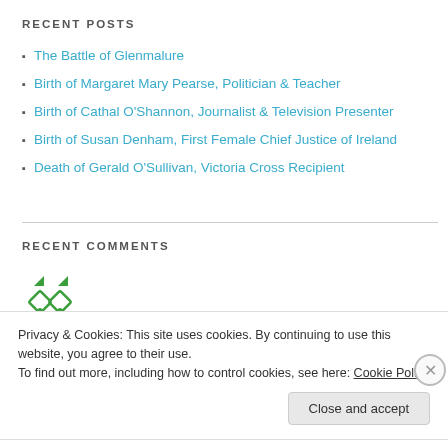RECENT POSTS
The Battle of Glenmalure
Birth of Margaret Mary Pearse, Politician & Teacher
Birth of Cathal O'Shannon, Journalist & Television Presenter
Birth of Susan Denham, First Female Chief Justice of Ireland
Death of Gerald O'Sullivan, Victoria Cross Recipient
RECENT COMMENTS
[Figure (logo): Green decorative icon/avatar with diamond shapes]
Privacy & Cookies: This site uses cookies. By continuing to use this website, you agree to their use.
To find out more, including how to control cookies, see here: Cookie Policy